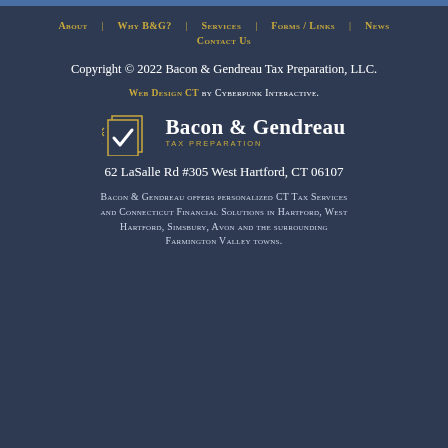About | Why B&G? | Services | Forms / Links | News | Contact Us
Copyright © 2022 Bacon & Gendreau Tax Preparation, LLC.
Web Design CT by Cyberpunk Interactive.
[Figure (logo): Bacon & Gendreau Tax Preparation logo with checkmark icon and text]
62 LaSalle Rd #305 West Hartford, CT 06107
Bacon & Gendreau offers personalized CT Tax Services and Connecticut Financial Solutions in Hartford, West Hartford, Simsbury, Avon and the surrounding Farmington Valley towns.